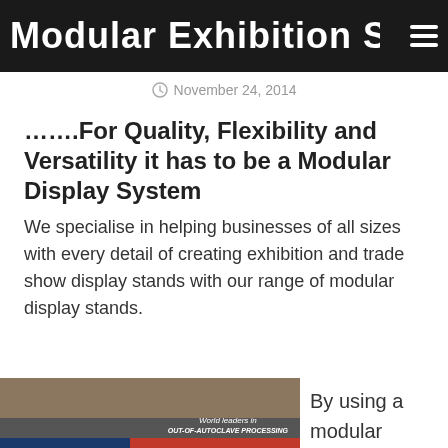Modular Exhibition Stand
November 24, 2014
…….For Quality, Flexibility and Versatility it has to be a Modular Display System
We specialise in helping businesses of all sizes with every detail of creating exhibition and trade show display stands with our range of modular display stands.
[Figure (photo): Exhibition stand photo showing Surface Generation booth with red banner reading 'Out-of-Autoclave Processing' and colorful modular display panels]
By using a modular system we create for